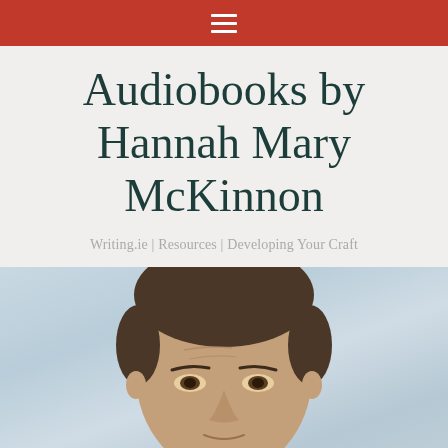≡
Audiobooks by Hannah Mary McKinnon
Writing.ie | Resources | Developing Your Craft
[Figure (photo): Close-up headshot of a man with dark short hair, slight frown lines on forehead, against a blurred light blue/grey background. Only the upper portion of face is visible.]